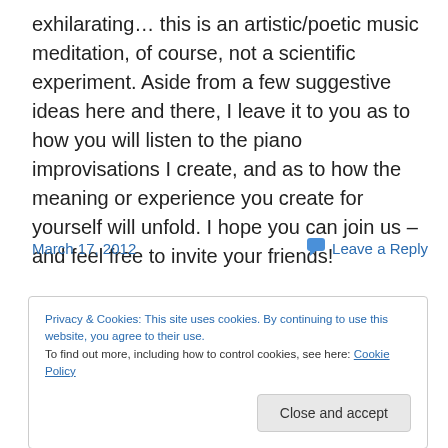exhilarating… this is an artistic/poetic music meditation, of course, not a scientific experiment. Aside from a few suggestive ideas here and there, I leave it to you as to how you will listen to the piano improvisations I create, and as to how the meaning or experience you create for yourself will unfold. I hope you can join us – and feel free to invite your friends!
March 17, 2012    Leave a Reply
Privacy & Cookies: This site uses cookies. By continuing to use this website, you agree to their use. To find out more, including how to control cookies, see here: Cookie Policy
Close and accept